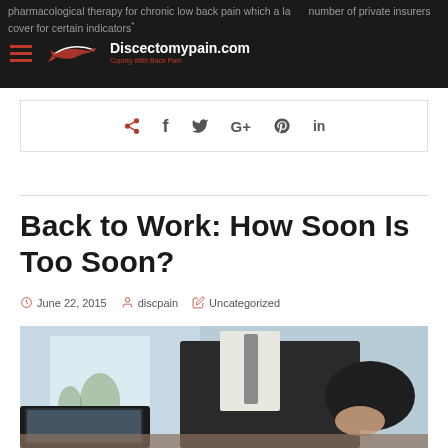pharmacological therapy for chronic low back pain which a large number of private insurers cover for certain indicators
Discectomypain.com — Coping With Back Pain
[Figure (screenshot): Social sharing bar with share, Facebook, Twitter, Google+, Pinterest, LinkedIn icons]
Back to Work: How Soon Is Too Soon?
June 22, 2015   discpain   Uncategorized
[Figure (photo): Person in a dark suit sitting at a desk with a laptop, holding their lower back in pain, suggesting back pain in a work/office setting]